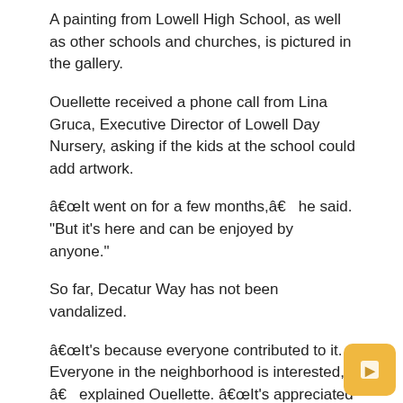A painting from Lowell High School, as well as other schools and churches, is pictured in the gallery.
Ouellette received a phone call from Lina Gruca, Executive Director of Lowell Day Nursery, asking if the kids at the school could add artwork.
“It went on for a few months,â he said. “But it’s here and can be enjoyed by anyone.”
So far, Decatur Way has not been vandalized.
“It’s because everyone contributed to it. Everyone in the neighborhood is interested, â explained Ouellette. “It’s appreciated by everyone.
No one needs to tag it with graffiti because one of the best artists in the Lowell area has painted a mural before, he said.
“The budget is minimal because everything is voluntary. And the (Department of Public Works) is doing a tremendous job of maintaining it, â Ouellette said. “They went out of their way over